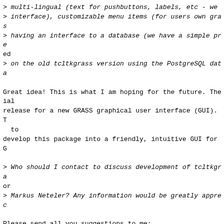> multi-lingual (text for pushbuttons, labels, etc - we
> interface), customizable menu items (for users own gras
> having an interface to a database (we have a simple pre
ed
> on the old tcltkgrass version using the PostgreSQL data
Great idea! This is what I am hoping for the future. The
ial
release for a new GRASS graphical user interface (GUI). T
  to
develop this package into a friendly, intuitive GUI for G
> Who should I contact to discuss development of tcltkgra
or
> Markus Neteler? Any information would be greatly apprec
Please send all you suggestions to me:
neteler at geog.uni-hannover.de
I will coordinate tcltkgrass the next time. Baylor's peop
GRASS 5.0 (floating point raster).
> BTW, since we compiled the floating point code before b
> over development, we did not bother downloading grass 4
he
> d.pan command? It doesn't seem to be on the Baylor FTP
> site. Do I have to download the entire 4.2 source to ex
The d.pan command is included in GRASS 4.2.1. I have adde